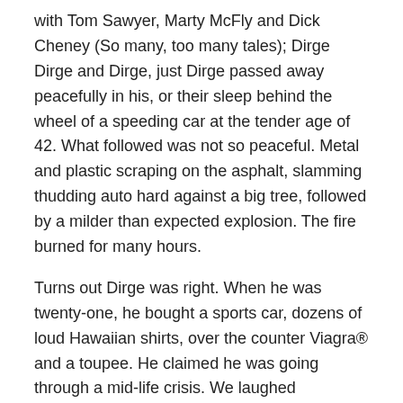with Tom Sawyer, Marty McFly and Dick Cheney (So many, too many tales); Dirge Dirge and Dirge, just Dirge passed away peacefully in his, or their sleep behind the wheel of a speeding car at the tender age of 42. What followed was not so peaceful. Metal and plastic scraping on the asphalt, slamming thudding auto hard against a big tree, followed by a milder than expected explosion. The fire burned for many hours.
Turns out Dirge was right. When he was twenty-one, he bought a sports car, dozens of loud Hawaiian shirts, over the counter Viagra® and a toupee. He claimed he was going through a mid-life crisis. We laughed uncomfortably because it was kind of funny.
Share this: